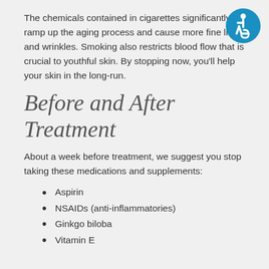The chemicals contained in cigarettes significantly ramp up the aging process and cause more fine lines and wrinkles. Smoking also restricts blood flow that is crucial to youthful skin. By stopping now, you'll help your skin in the long-run.
[Figure (logo): Blue circular accessibility icon with wheelchair symbol]
Before and After Treatment
About a week before treatment, we suggest you stop taking these medications and supplements:
Aspirin
NSAIDs (anti-inflammatories)
Ginkgo biloba
Vitamin E